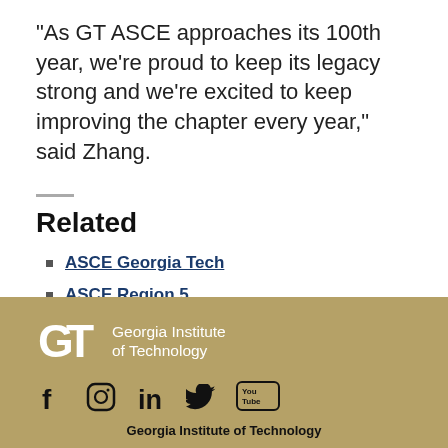“As GT ASCE approaches its 100th year, we’re proud to keep its legacy strong and we’re excited to keep improving the chapter every year,” said Zhang.
Related
ASCE Georgia Tech
ASCE Region 5
Georgia Institute of Technology